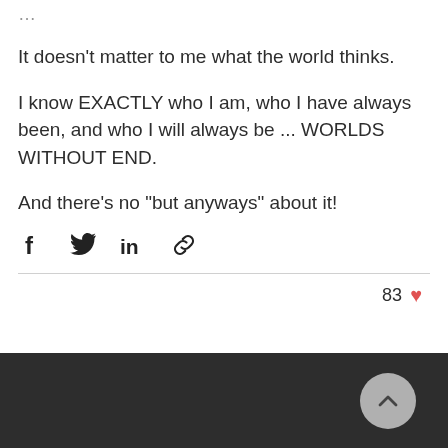It doesn't matter to me what the world thinks.
I know EXACTLY who I am, who I have always been, and who I will always be ... WORLDS WITHOUT END.
And there's no "but anyways" about it!
[Figure (infographic): Social share icons: Facebook, Twitter, LinkedIn, link/chain icon]
83 ♥
[Figure (infographic): Dark footer bar with a grey circular scroll-to-top button showing a chevron/caret up arrow]